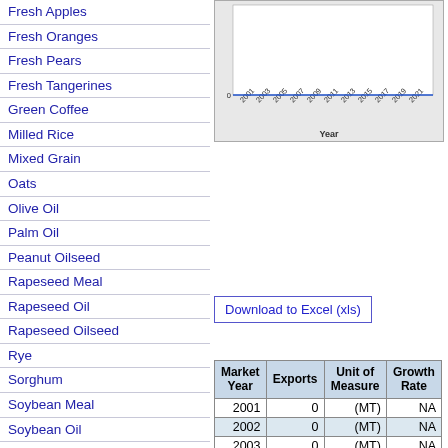Fresh Apples
Fresh Oranges
Fresh Pears
Fresh Tangerines
Green Coffee
Milled Rice
Mixed Grain
Oats
Olive Oil
Palm Oil
Peanut Oilseed
Rapeseed Meal
Rapeseed Oil
Rapeseed Oilseed
Rye
Sorghum
Soybean Meal
Soybean Oil
Soybean Oilseed
Sunflowerseed Meal
Sunflowerseed Oil
Sunflowerseed Oilseed
Swine Meat
Walnuts, Inshell Basis
Wheat
[Figure (continuous-plot): Line chart showing exports over years 2001-2021 with Year on x-axis]
Download to Excel (xls)
| Market Year | Exports | Unit of Measure | Growth Rate |
| --- | --- | --- | --- |
| 2001 | 0 | (MT) | NA |
| 2002 | 0 | (MT) | NA |
| 2003 | 0 | (MT) | NA |
| 2004 | 0 | (MT) | NA |
| 2005 | 0 | (MT) | NA |
| 2006 | 0 | (MT) | NA |
| 2007 | 0 | (MT) | NA |
| 2008 | 0 | (MT) | NA |
| 2009 | 0 | (MT) | NA |
| 2010 | 0 | (MT) | NA |
| 2011 | 0 | (MT) | NA |
| 2012 | 0 | (MT) | NA |
| 2013 | 0 | (MT) | NA |